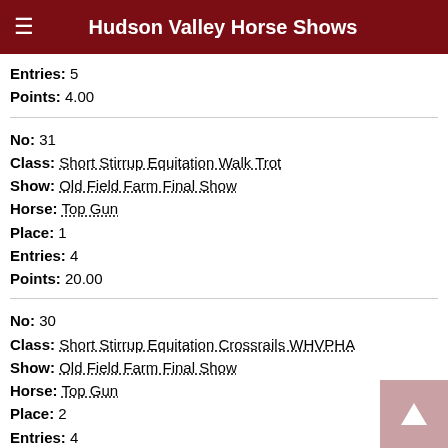Hudson Valley Horse Shows
Entries: 5
Points: 4.00
No: 31
Class: Short Stirrup Equitation Walk Trot
Show: Old Field Farm Final Show
Horse: Top Gun
Place: 1
Entries: 4
Points: 20.00
No: 30
Class: Short Stirrup Equitation Crossrails WHVPHA
Show: Old Field Farm Final Show
Horse: Top Gun
Place: 2
Entries: 4
Points: 12.00
No: 32
Class: Short Stirrup Equitation Walk Trot Canter